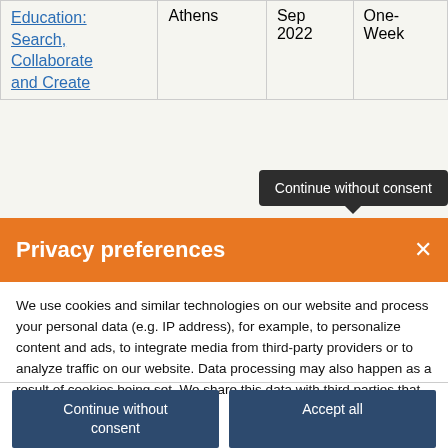|  | Athens | Sep 2022 | One-Week |
| --- | --- | --- | --- |
| Education: Search, Collaborate and Create | Athens | Sep 2022 | One-Week |
[Figure (screenshot): Tooltip popup reading 'Continue without consent']
Privacy preferences
We use cookies and similar technologies on our website and process your personal data (e.g. IP address), for example, to personalize content and ads, to integrate media from third-party providers or to analyze traffic on our website. Data processing may also happen as a result of cookies being set. We share this data with third parties that we name in the privacy settings.
Continue without consent
Accept all
Set privacy settings individually
Privacy policy • Cookie Policy